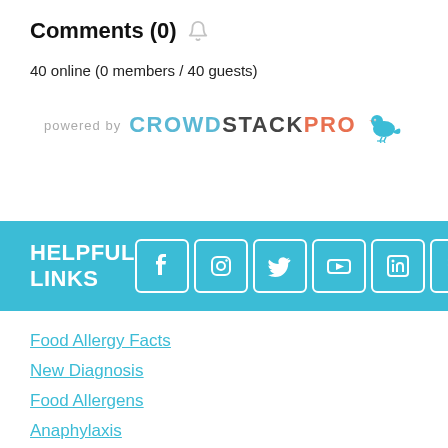Comments (0)
40 online (0 members / 40 guests)
[Figure (logo): powered by CROWDSTACKPRO logo with bird icon]
HELPFUL LINKS
[Figure (other): Social media icons: Facebook, Instagram, Twitter, YouTube, LinkedIn, RSS, Email]
Food Allergy Facts
New Diagnosis
Food Allergens
Anaphylaxis
Food Allergy Recalls